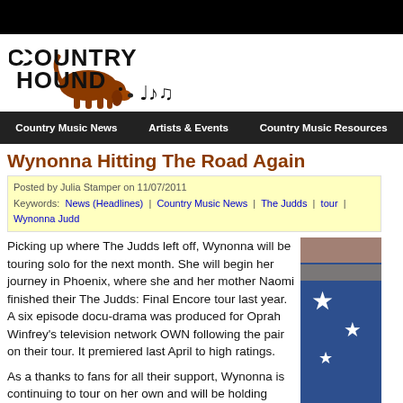[Figure (logo): Country Hound logo with brown hound dog sniffing ground and musical notes, bold text COUNTRY HOUND]
Country Music News | Artists & Events | Country Music Resources
Wynonna Hitting The Road Again
Posted by Julia Stamper on 11/07/2011
Keywords: News (Headlines) | Country Music News | The Judds | tour | Wynonna Judd
Picking up where The Judds left off, Wynonna will be touring solo for the next month. She will begin her journey in Phoenix, where she and her mother Naomi finished their The Judds: Final Encore tour last year. A six episode docu-drama was produced for Oprah Winfrey's television network OWN following the pair on their tour. It premiered last April to high ratings.
As a thanks to fans for all their support, Wynonna is continuing to tour on her own and will be holding special meet and greet sessions at each stop of the tour. “It means a lot to me to have such dedicated and hardworking fans that have been with me
[Figure (photo): Photo of Wynonna Judd performing, wearing blue outfit with stars, partial view]